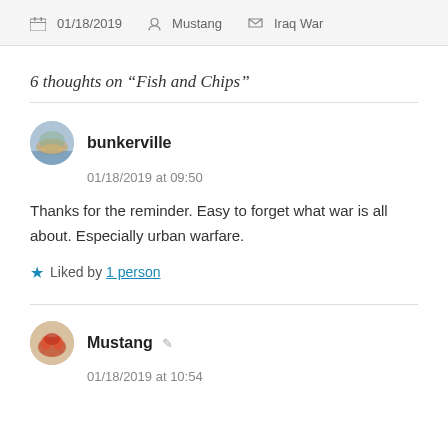01/18/2019  Mustang  Iraq War
6 thoughts on “Fish and Chips”
bunkerville
01/18/2019 at 09:50
Thanks for the reminder. Easy to forget what war is all about. Especially urban warfare.
Liked by 1 person
Mustang
01/18/2019 at 10:54